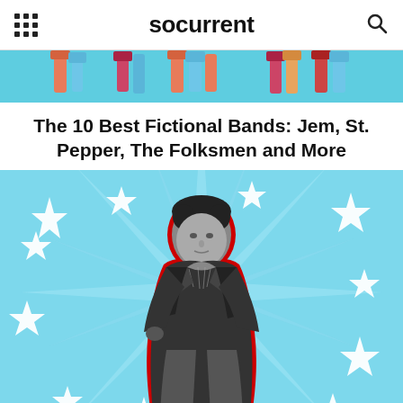socurrent
[Figure (illustration): Colorful illustrated banner strip with popsicle/candy shapes on cyan background]
The 10 Best Fictional Bands: Jem, St. Pepper, The Folksmen and More
[Figure (photo): Black and white photo of a young man in a leather jacket with a red outline cutout, posed against a light blue starburst background with large white stars scattered around]